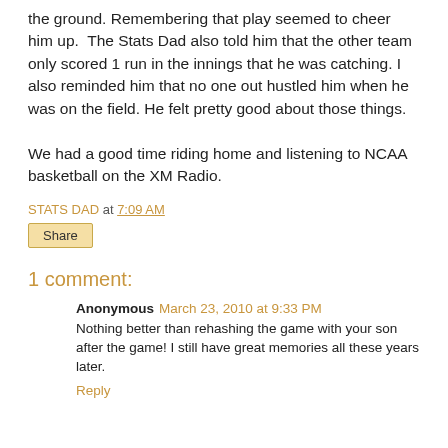the ground. Remembering that play seemed to cheer him up.  The Stats Dad also told him that the other team only scored 1 run in the innings that he was catching. I also reminded him that no one out hustled him when he was on the field. He felt pretty good about those things.

We had a good time riding home and listening to NCAA basketball on the XM Radio.
STATS DAD at 7:09 AM
Share
1 comment:
Anonymous  March 23, 2010 at 9:33 PM
Nothing better than rehashing the game with your son after the game! I still have great memories all these years later.
Reply